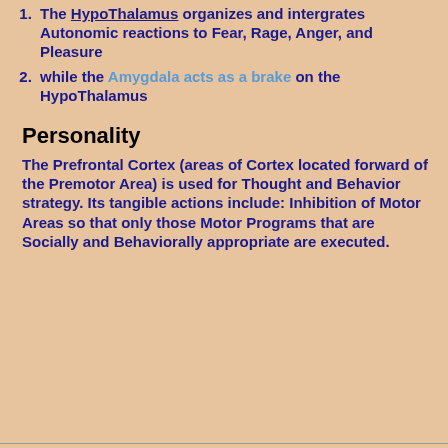1. The HypoThalamus organizes and intergrates Autonomic reactions to Fear, Rage, Anger, and Pleasure
2. while the Amygdala acts as a brake on the HypoThalamus
Personality
The Prefrontal Cortex (areas of Cortex located forward of the Premotor Area) is used for Thought and Behavior strategy. Its tangible actions include: Inhibition of Motor Areas so that only those Motor Programs that are Socially and Behaviorally appropriate are executed.